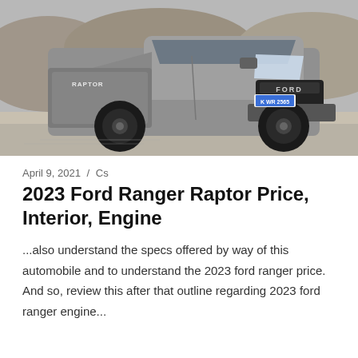[Figure (photo): A silver Ford Ranger Raptor pickup truck driving on a road, shot from a front-three-quarter angle, with rocky terrain in the background. License plate reads K WR 2565.]
April 9, 2021 / Cs
2023 Ford Ranger Raptor Price, Interior, Engine
...also understand the specs offered by way of this automobile and to understand the 2023 ford ranger price. And so, review this after that outline regarding 2023 ford ranger engine...